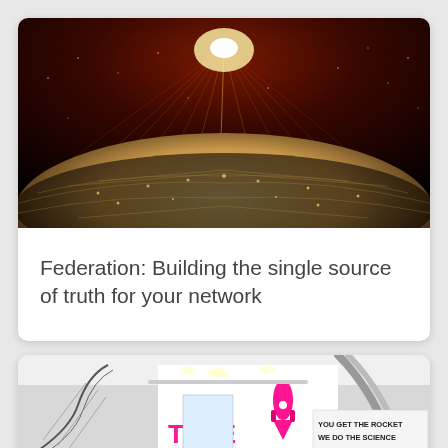[Figure (photo): Globe with glowing orange sun rising above the horizon, with network connection lines overlaid on the surface, space-tech themed image]
Federation: Building the single source of truth for your network
[Figure (photo): Interior of a modern tech building with spiral staircase, a large metallic slide, a rocket graphic, and TIME branding signage. Text reads 'YOU GET THE ROCKET WE DO THE SCIENCE']